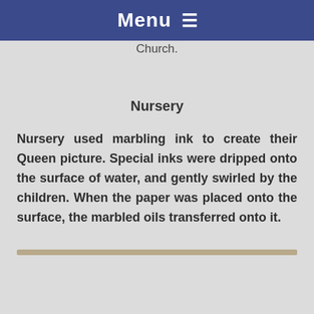Menu ☰
Church.
Nursery
Nursery used marbling ink to create their Queen picture. Special inks were dripped onto the surface of water, and gently swirled by the children. When the paper was placed onto the surface, the marbled oils transferred onto it.